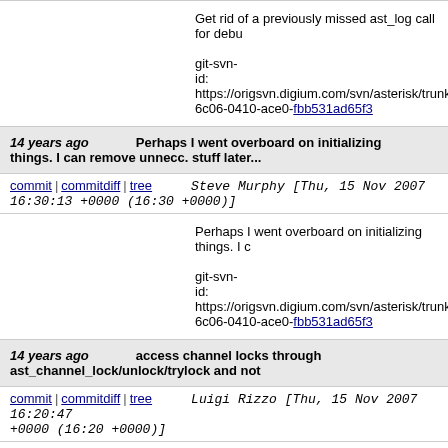Get rid of a previously missed ast_log call for debu git-svn-id: https://origsvn.digium.com/svn/asterisk/trunk@ 6c06-0410-ace0-fbb531ad65f3
14 years ago   Perhaps I went overboard on initializing things. I can remove unnecc. stuff later...
commit | commitdiff | tree   Steve Murphy [Thu, 15 Nov 2007 16:30:13 +0000 (16:30 +0000)]
Perhaps I went overboard on initializing things. I c git-svn-id: https://origsvn.digium.com/svn/asterisk/trunk@ 6c06-0410-ace0-fbb531ad65f3
14 years ago   access channel locks through ast_channel_lock/unlock/trylock and not
commit | commitdiff | tree   Luigi Rizzo [Thu, 15 Nov 2007 16:20:47 +0000 (16:20 +0000)]
access channel locks through ast_channel_lock/u through ast_mutex primitives.

To detect all occurrences, I have renamed the l